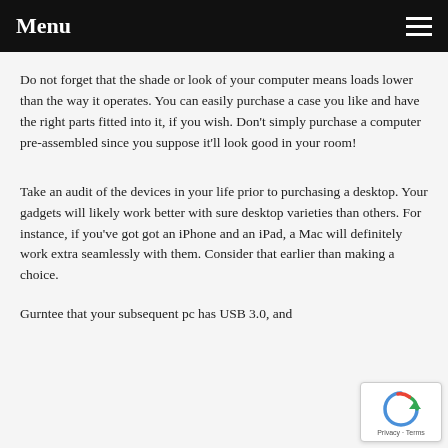Menu
Do not forget that the shade or look of your computer means loads lower than the way it operates. You can easily purchase a case you like and have the right parts fitted into it, if you wish. Don't simply purchase a computer pre-assembled since you suppose it'll look good in your room!
Take an audit of the devices in your life prior to purchasing a desktop. Your gadgets will likely work better with sure desktop varieties than others. For instance, if you've got got an iPhone and an iPad, a Mac will definitely work extra seamlessly with them. Consider that earlier than making a choice.
Gurntee that your subsequent pc has USB 3.0, and